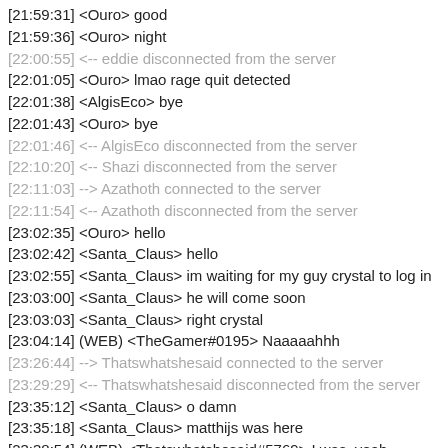[21:59:31] <Ouro> good
[21:59:36] <Ouro> night
[22:00:55] <-- eddie disconnected from the server
[22:01:05] <Ouro> lmao rage quit detected
[22:01:38] <AlgisEco> bye
[22:01:43] <Ouro> bye
[22:01:46] <-- AlgisEco disconnected from the server
[22:10:20] <-- Shazi disconnected from the server
[22:11:03] --> Azathoth connected to the server
[22:11:54] <-- Azathoth disconnected from the server
[23:02:35] <Ouro> hello
[23:02:42] <Santa_Claus> hello
[23:02:55] <Santa_Claus> im waiting for my guy crystal to log in
[23:03:00] <Santa_Claus> he will come soon
[23:03:03] <Santa_Claus> right crystal
[23:04:14] (WEB) <TheGamer#0195> Naaaaahhh
[23:26:44] --> Thatswhatshesaid connected to the server
[23:29:29] <-- Thatswhatshesaid disconnected from the server
[23:35:12] <Santa_Claus> o damn
[23:35:18] <Santa_Claus> matthijs was here
[23:38:54] (WEB) <Thatswhatshesaid#5769> I was, yeah
[23:38:59] (WEB) <Thatswhatshesaid#5769> You were afk tho
[23:41:19] --> WarmBees connected to the server
[23:47:20] <-- WarmBees disconnected from the server
[23:48:03] --> WarmBees connected to the server